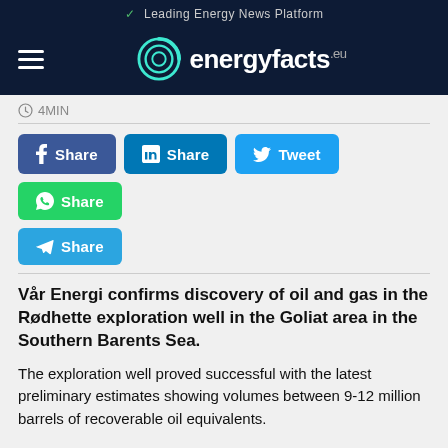✓ Leading Energy News Platform
[Figure (logo): energyfacts.eu logo with teal circular icon on dark navy background]
4MIN
Share | Share | Tweet | Share | Share (social media buttons)
Vår Energi confirms discovery of oil and gas in the Rødhette exploration well in the Goliat area in the Southern Barents Sea.
The exploration well proved successful with the latest preliminary estimates showing volumes between 9-12 million barrels of recoverable oil equivalents.